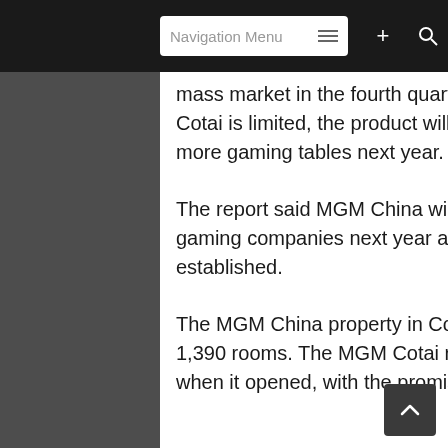Navigation Menu
mass market in the fourth quarter. The memo said this is because competition in Cotai is limited, the product will improve and the company is set to obtain 25 more gaming tables next year.
The report said MGM China will show the strongest EBITDA growth among the gaming companies next year as the HKD27-billion MGM Cotai becomes established.
The MGM China property in Cotai opened in February and boasts more than 1,390 rooms. The MGM Cotai resort got 100 new-to-market live dealer tables when it opened, with the promise of another 25 in January next year.